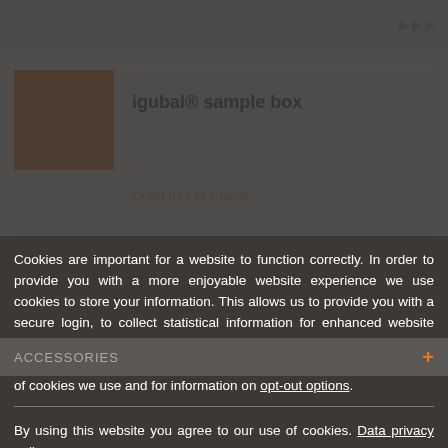igubal® sample box
Cookies are important for a website to function correctly. In order to provide you with a more enjoyable website experience we use cookies to store your information. This allows us to provide you with a secure login, to collect statistical information for enhanced website functionality and to provide you with content that is tailored to your needs. Click on „Privacy Policy" for a detailed description of the types of cookies we use and for information on opt-out options.
By using this website you agree to our use of cookies. Data privacy policy.
I agree.